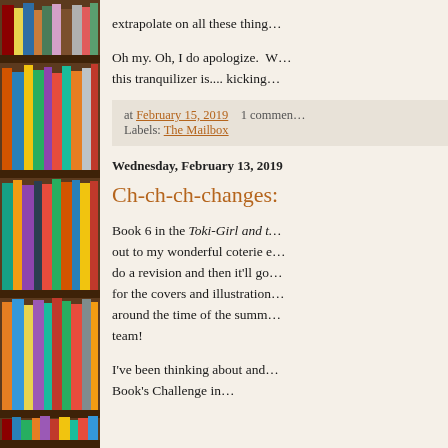[Figure (photo): Photograph of a bookshelf filled with colorful books, spanning the full left column of the page.]
extrapolate on all these thing…
Oh my. Oh, I do apologize. W… this tranquilizer is.... kicking…
at February 15, 2019   1 comment…
Labels: The Mailbox
Wednesday, February 13, 2019
Ch-ch-ch-changes:
Book 6 in the Toki-Girl and t… out to my wonderful coterie e… do a revision and then it'll go… for the covers and illustration… around the time of the summ… team!
I've been thinking about and… Book's Challenge in…